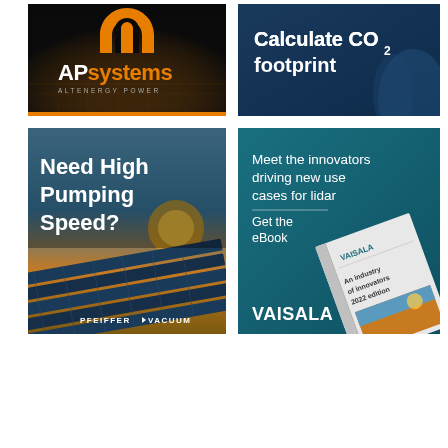[Figure (logo): APsystems / Altenergy Power logo advertisement on dark background with orange logo mark and city grid imagery]
[Figure (infographic): Calculate CO2 footprint advertisement on dark blue background with white bold text]
[Figure (infographic): Pfeiffer Vacuum advertisement: Need High Pumping Speed? with solar panel imagery]
[Figure (infographic): Vaisala eBook advertisement: Meet the innovators driving new use cases for lidar, Get the eBook, teal background with book imagery]